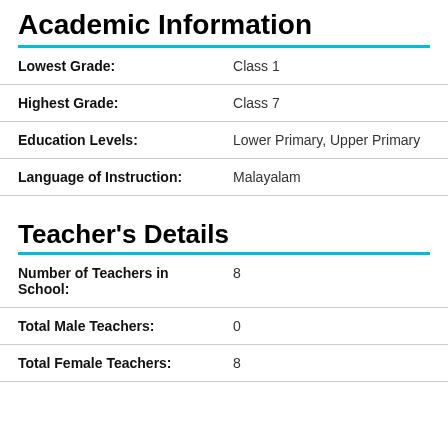Academic Information
| Field | Value |
| --- | --- |
| Lowest Grade: | Class 1 |
| Highest Grade: | Class 7 |
| Education Levels: | Lower Primary, Upper Primary |
| Language of Instruction: | Malayalam |
Teacher's Details
| Field | Value |
| --- | --- |
| Number of Teachers in School: | 8 |
| Total Male Teachers: | 0 |
| Total Female Teachers: | 8 |